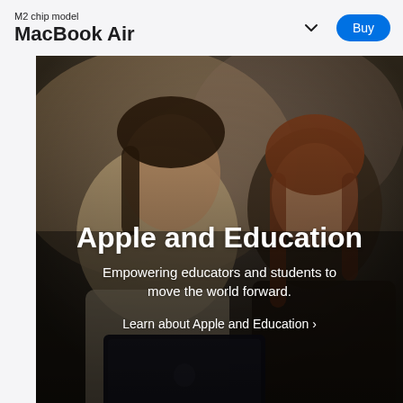M2 chip model
MacBook Air
[Figure (photo): Two women looking at a MacBook Air laptop together. One woman with dark hair is smiling, wearing a cream sweater. Another woman with auburn hair is leaning in to look at the laptop screen. The scene is warmly lit with a blurred indoor background.]
Apple and Education
Empowering educators and students to move the world forward.
Learn about Apple and Education ›